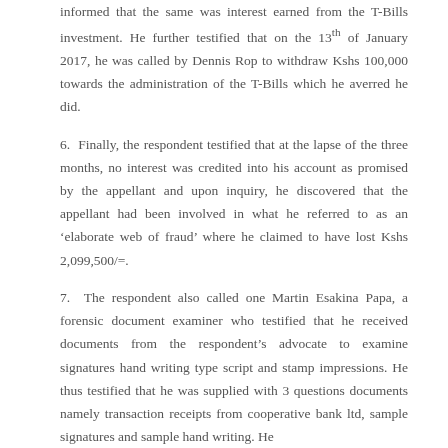informed that the same was interest earned from the T-Bills investment. He further testified that on the 13th of January 2017, he was called by Dennis Rop to withdraw Kshs 100,000 towards the administration of the T-Bills which he averred he did.
6. Finally, the respondent testified that at the lapse of the three months, no interest was credited into his account as promised by the appellant and upon inquiry, he discovered that the appellant had been involved in what he referred to as an 'elaborate web of fraud' where he claimed to have lost Kshs 2,099,500/=.
7. The respondent also called one Martin Esakina Papa, a forensic document examiner who testified that he received documents from the respondent's advocate to examine signatures hand writing type script and stamp impressions. He thus testified that he was supplied with 3 questions documents namely transaction receipts from cooperative bank ltd, sample signatures and sample handwriting. He